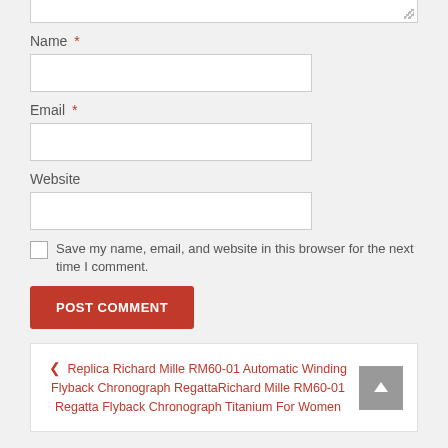Name *
Email *
Website
Save my name, email, and website in this browser for the next time I comment.
POST COMMENT
❮ Replica Richard Mille RM60-01 Automatic Winding Flyback Chronograph RegattaRichard Mille RM60-01 Regatta Flyback Chronograph Titanium For Women